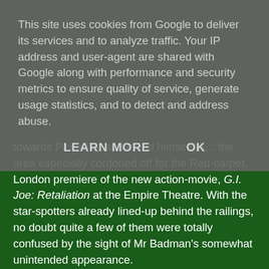This site uses cookies from Google to deliver its services and to analyze traffic. Your IP address and user-agent are shared with Google along with performance and security metrics to ensure quality of service, generate usage statistics, and to detect and address abuse.
LEARN MORE    OK
towards Piccadilly and found himself in… the area especially cordoned off for the Red-carpet, London premiere of the new action-movie, G.I. Joe: Retaliation at the Empire Theatre. With the star-spotters already lined-up behind the railings, no doubt quite a few of them were totally confused by the sight of Mr Badman's somewhat unintended appearance.
(14) Good Book Guide – A reference to Keith's Marilyn book appeared in yet another recent edition of The Good Book Guide. It read, "If you thought you'd heard all there is to know about Marilyn Monroe, her life and death then think again." (Thank you all!)
(11) Canada – Er, simply incredible! Some eight months (yes